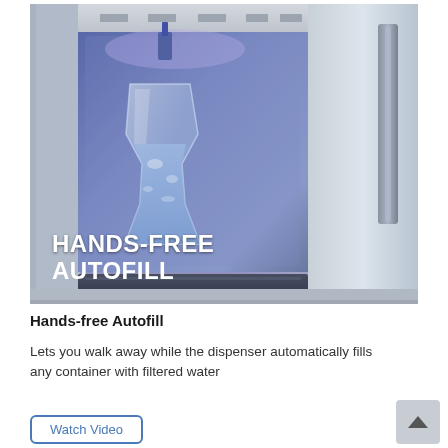[Figure (photo): Close-up photo of a refrigerator's hands-free autofill water dispenser with a clear glass pitcher being filled with water, illuminated by blue-purple LED lighting. Text overlay reads 'HANDS-FREE AUTOFILL' in bold white capital letters.]
Hands-free Autofill
Lets you walk away while the dispenser automatically fills any container with filtered water
Watch Video